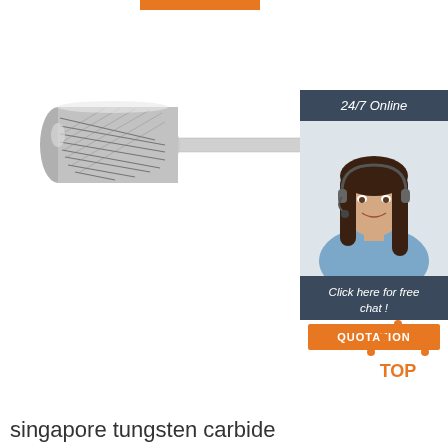[Figure (photo): Orange horizontal bar at top of page]
[Figure (photo): Tungsten carbide rotary burr tool on white background - cylindrical shaped cutting bit with shank]
[Figure (infographic): 24/7 online chat widget with customer service representative photo, 'Click here for free chat!' text, and QUOTATION orange button]
[Figure (logo): TOP icon with orange dotted triangle above the word TOP in orange text]
singapore tungsten carbide